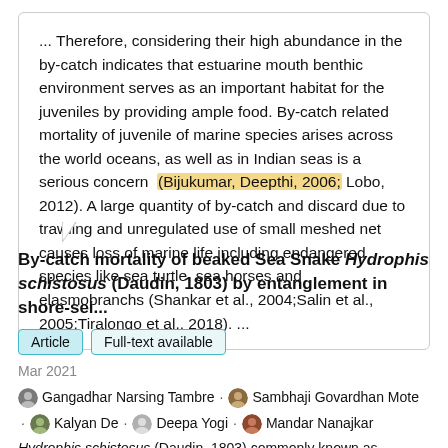... Therefore, considering their high abundance in the by-catch indicates that estuarine mouth benthic environment serves as an important habitat for the juveniles by providing ample food. By-catch related mortality of juvenile of marine species arises across the world oceans, as well as in Indian seas is a serious concern (Bijukumar, Deepthi, 2006; Lobo, 2012). A large quantity of by-catch and discard due to trawling and unregulated use of small meshed net causes loss of marine life including endangered species like sea turtle, sea horses and elasmobranchs (Shankar et al., 2004;Salin et al., 2005;Tiralongo et al., 2018). ...
By-catch mortality of beaked Sea Snake Hydrophis schistosus (Daudin, 1803) by entanglement in shore-sei...
Article   Full-text available
Mar 2021
Gangadhar Narsing Tambre · Sambhaji Govardhan Mote · Kalyan De · Deepa Yogi · Mandar Nanajkar
Hydrophis schistosus (Daudin, 1803) commonly known as ...